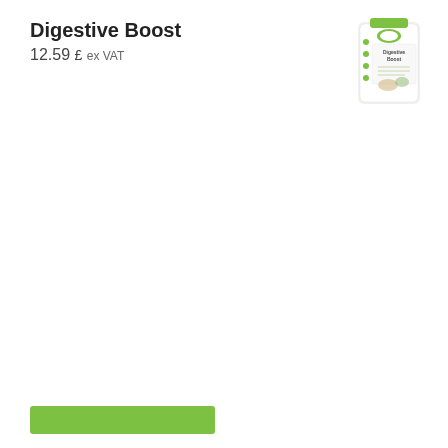Digestive Boost
12.59 £ ex VAT
[Figure (photo): Product image of Digestive Boost supplement bottle with green and white label featuring herbal imagery]
[Figure (other): Green button/call-to-action at bottom left]